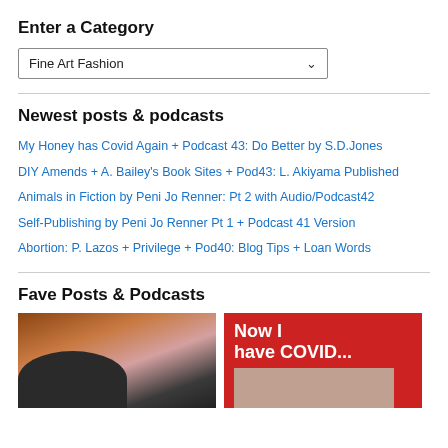Enter a Category
Fine Art Fashion
Newest posts & podcasts
My Honey has Covid Again + Podcast 43: Do Better by S.D.Jones
DIY Amends + A. Bailey's Book Sites + Pod43: L. Akiyama Published
Animals in Fiction by Peni Jo Renner: Pt 2 with Audio/Podcast42
Self-Publishing by Peni Jo Renner Pt 1 + Podcast 41 Version
Abortion: P. Lazos + Privilege + Pod40: Blog Tips + Loan Words
Fave Posts & Podcasts
[Figure (photo): Woman with dark hair cheek-to-cheek with a black dog, outdoors near brick wall]
[Figure (photo): Red background with white bold text reading 'Now I have COVID...' and a smaller inset photo below]